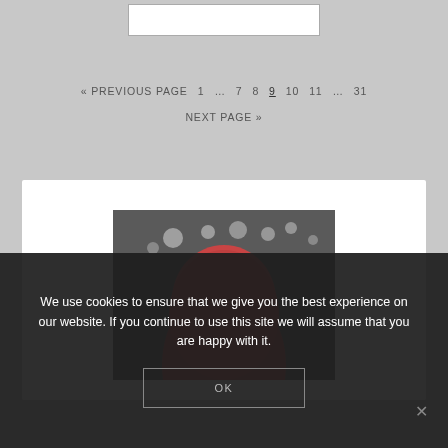[Figure (other): Top partial image placeholder with white bordered box on gray background]
« PREVIOUS PAGE   1  …  7  8  9  10  11  …  31
NEXT PAGE »
[Figure (photo): Photo of a person with red/auburn hair seen from behind, bokeh string lights in background, dark gray background]
We use cookies to ensure that we give you the best experience on our website. If you continue to use this site we will assume that you are happy with it.
OK